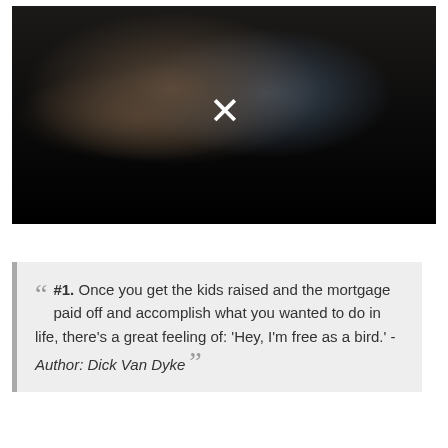[Figure (photo): Dark cinema scene showing a woman in profile looking upward, with another person partially visible in the background. A white X mark is overlaid in the center of the image.]
#1. Once you get the kids raised and the mortgage paid off and accomplish what you wanted to do in life, there's a great feeling of: 'Hey, I'm free as a bird.' - Author: Dick Van Dyke